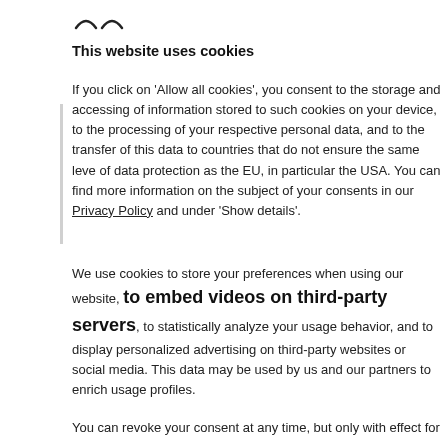[Figure (other): Two curved wavy lines icon at top left]
This website uses cookies
If you click on 'Allow all cookies', you consent to the storage and accessing of information stored to such cookies on your device, to the processing of your respective personal data, and to the transfer of this data to countries that do not ensure the same level of data protection as the EU, in particular the USA. You can find more information on the subject of your consents in our Privacy Policy and under 'Show details'.
We use cookies to store your preferences when using our website, to embed videos on third-party servers, to statistically analyze your usage behavior, and to display personalized advertising on third-party websites or social media. This data may be used by us and our partners to enrich usage profiles.
You can revoke your consent at any time, but only with effect for